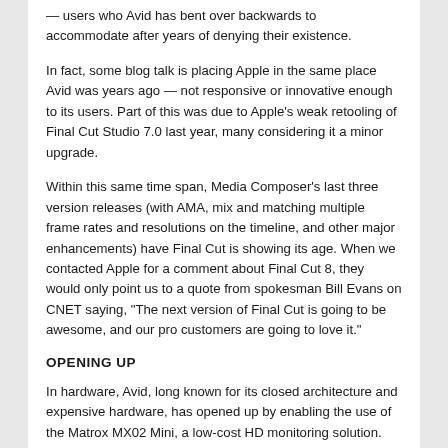— users who Avid has bent over backwards to accommodate after years of denying their existence.
In fact, some blog talk is placing Apple in the same place Avid was years ago — not responsive or innovative enough to its users. Part of this was due to Apple's weak retooling of Final Cut Studio 7.0 last year, many considering it a minor upgrade.
Within this same time span, Media Composer's last three version releases (with AMA, mix and matching multiple frame rates and resolutions on the timeline, and other major enhancements) have Final Cut is showing its age. When we contacted Apple for a comment about Final Cut 8, they would only point us to a quote from spokesman Bill Evans on CNET saying, "The next version of Final Cut is going to be awesome, and our pro customers are going to love it."
OPENING UP
In hardware, Avid, long known for its closed architecture and expensive hardware, has opened up by enabling the use of the Matrox MX02 Mini, a low-cost HD monitoring solution. (See my Matrox Review in this issue.) With users and facilities now having the flexibility of going the Matrox route rather than the pricey Mojo DX, one of the biggest complaints about Media Composer — cost — has been vanquished.